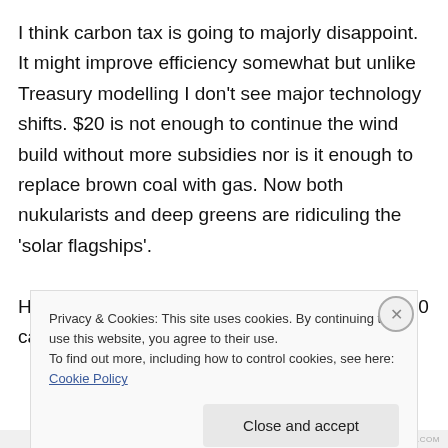I think carbon tax is going to majorly disappoint. It might improve efficiency somewhat but unlike Treasury modelling I don't see major technology shifts. $20 is not enough to continue the wind build without more subsidies nor is it enough to replace brown coal with gas. Now both nukularists and deep greens are ridiculing the 'solar flagships'.

However I think we have to forge ahead with $20 carbon tax to break the log jam which is better
Privacy & Cookies: This site uses cookies. By continuing to use this website, you agree to their use.
To find out more, including how to control cookies, see here: Cookie Policy
Close and accept